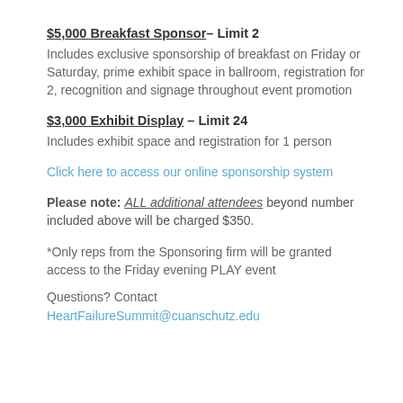$5,000 Breakfast Sponsor– Limit 2
Includes exclusive sponsorship of breakfast on Friday or Saturday, prime exhibit space in ballroom, registration for 2, recognition and signage throughout event promotion
$3,000 Exhibit Display – Limit 24
Includes exhibit space and registration for 1 person
Click here to access our online sponsorship system
Please note: ALL additional attendees beyond number included above will be charged $350.
*Only reps from the Sponsoring firm will be granted access to the Friday evening PLAY event
Questions? Contact HeartFailureSummit@cuanschutz.edu